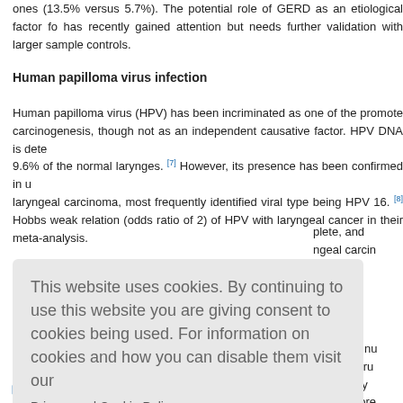ones (13.5% versus 5.7%). The potential role of GERD as an etiological factor for has recently gained attention but needs further validation with larger sample controls.
Human papilloma virus infection
Human papilloma virus (HPV) has been incriminated as one of the promoters of carcinogenesis, though not as an independent causative factor. HPV DNA is detected in 9.6% of the normal larynges. [7] However, its presence has been confirmed in up to laryngeal carcinoma, most frequently identified viral type being HPV 16. [8] Hobbs found weak relation (odds ratio of 2) of HPV with laryngeal cancer in their meta-analysis. plete, and ngeal carcinoma...
ouse and nu noma. Serum a probably g cells more
[Figure (screenshot): Cookie consent overlay dialog with text 'This website uses cookies. By continuing to use this website you are giving consent to cookies being used. For information on cookies and how you can disable them visit our Privacy and Cookie Policy.' and a red 'AGREE & PROCEED' button.]
Histopathological Aspects